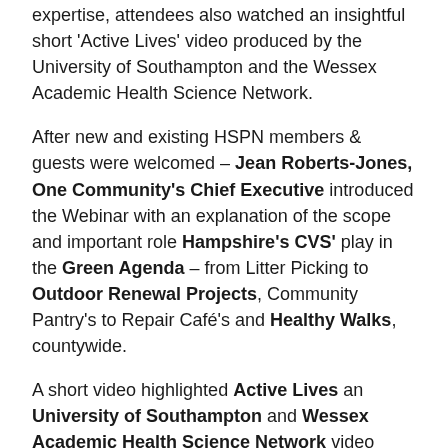expertise, attendees also watched an insightful short 'Active Lives' video produced by the University of Southampton and the Wessex Academic Health Science Network.
After new and existing HSPN members & guests were welcomed – Jean Roberts-Jones, One Community's Chief Executive introduced the Webinar with an explanation of the scope and important role Hampshire's CVS' play in the Green Agenda – from Litter Picking to Outdoor Renewal Projects, Community Pantry's to Repair Café's and Healthy Walks, countywide.
A short video highlighted Active Lives an University of Southampton and Wessex Academic Health Science Network video healthy ageing research programme supporting those aged 65+.
Dr Lizzie Moore, Public Health Registrar, delivered an